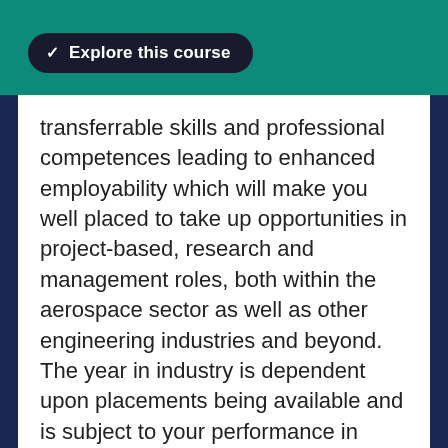Explore this course
transferrable skills and professional competences leading to enhanced employability which will make you well placed to take up opportunities in project-based, research and management roles, both within the aerospace sector as well as other engineering industries and beyond. The year in industry is dependent upon placements being available and is subject to your performance in previous years.
WHAT YOU'LL LEARN